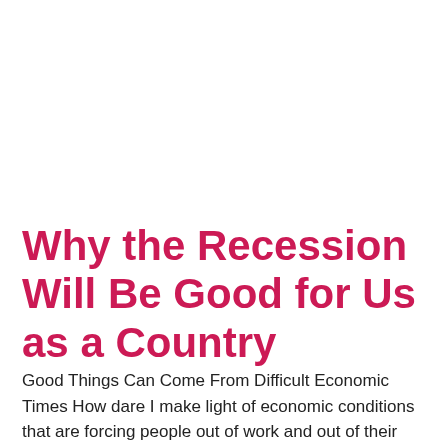Why the Recession Will Be Good for Us as a Country
Good Things Can Come From Difficult Economic Times How dare I make light of economic conditions that are forcing people out of work and out of their homes, but everything isn't all doom and gloom with the recession. If you've lost your job recently, there is probably little optimism in thinking that the recession is [...]